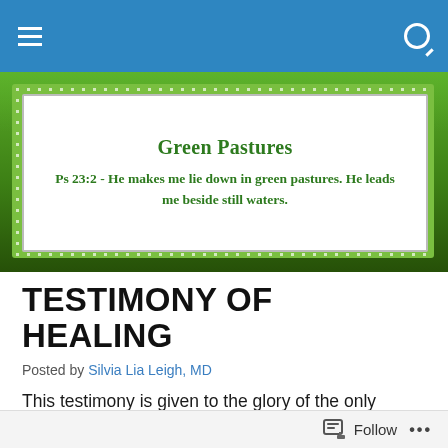Green Pastures — navigation bar
[Figure (illustration): Green Pastures website banner with polka-dot border frame on a green grass background, containing white inner box with site title and Bible verse]
TESTIMONY OF HEALING
Posted by Silvia Lia Leigh, MD
This testimony is given to the glory of the only Living God, our Lord and Savior Jesus Christ. It is given to the shame and defeat of the devil and for the encouragement of others. Last night, a brother in Christ sent me this inbox
Follow ...